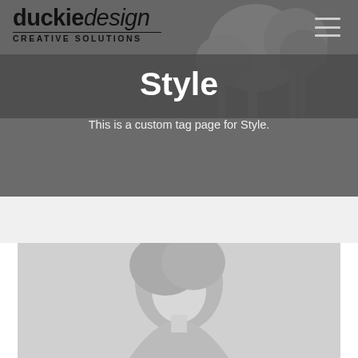[Figure (logo): Duckie Design creative solutions logo - black text logo with 'duckiedesign' in large font and 'creative solutions' below in smaller caps]
Style
This is a custom tag page for Style.
[Figure (photo): Black and white photo of a person with light-colored hair, looking upward, visible from shoulders up, set against a light gray background]